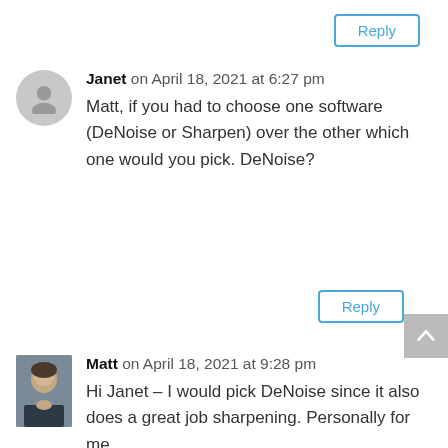Reply
Janet on April 18, 2021 at 6:27 pm
Matt, if you had to choose one software (DeNoise or Sharpen) over the other which one would you pick. DeNoise?
Reply
[Figure (photo): Matt profile photo - man in dark jacket]
Matt on April 18, 2021 at 9:28 pm
Hi Janet – I would pick DeNoise since it also does a great job sharpening. Personally for me,